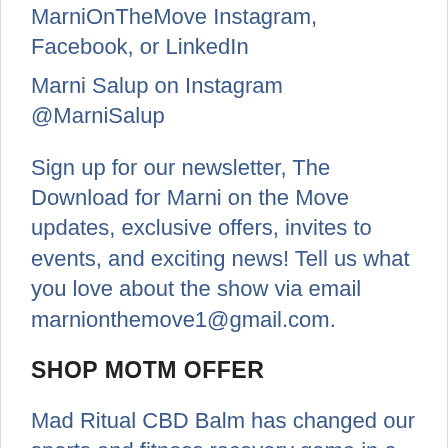MarniOnTheMove Instagram, Facebook, or LinkedIn
Marni Salup on Instagram @MarniSalup
Sign up for our newsletter, The Download for Marni on the Move updates, exclusive offers, invites to events, and exciting news!  Tell us what you love about the show via email marnionthemove1@gmail.com.
SHOP MOTM OFFER
Mad Ritual CBD Balm has changed our sports and fitness recovery game in a big way!  Get ready to recover like a rebel with these awesome high quality CBD infused products!  Shop with our code